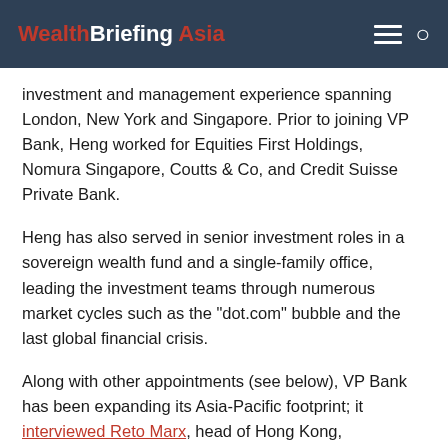WealthBriefing Asia
investment and management experience spanning London, New York and Singapore. Prior to joining VP Bank, Heng worked for Equities First Holdings, Nomura Singapore, Coutts & Co, and Credit Suisse Private Bank.
Heng has also served in senior investment roles in a sovereign wealth fund and a single-family office, leading the investment teams through numerous market cycles such as the "dot.com" bubble and the last global financial crisis.
Along with other appointments (see below), VP Bank has been expanding its Asia-Pacific footprint; it interviewed Reto Marx, head of Hong Kong,